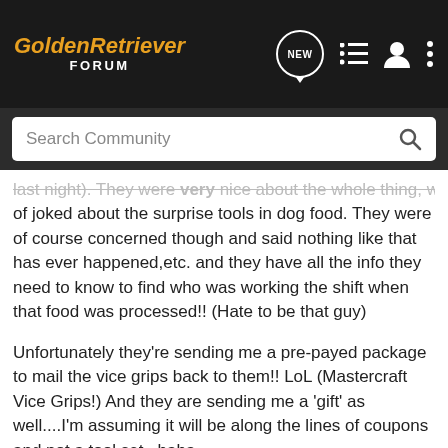GoldenRetriever FORUM
last night). They were very nice about the whole thing, we kind of joked about the surprise tools in dog food. They were of course concerned though and said nothing like that has ever happened,etc. and they have all the info they need to know to find who was working the shift when that food was processed!! (Hate to be that guy)
Unfortunately they're sending me a pre-payed package to mail the vice grips back to them!! LoL (Mastercraft Vice Grips!) And they are sending me a 'gift' as well....I'm assuming it will be along the lines of coupons and not a tool set...haha.
Overall they treated it very quickly and nicely! And no, I don't have enough posts to pm yet if it is 15...